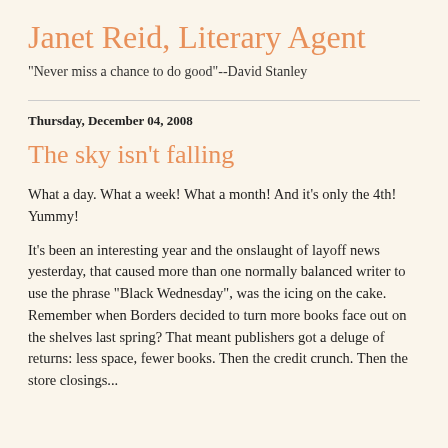Janet Reid, Literary Agent
"Never miss a chance to do good"--David Stanley
Thursday, December 04, 2008
The sky isn't falling
What a day. What a week! What a month! And it's only the 4th!
Yummy!
It's been an interesting year and the onslaught of layoff news yesterday, that caused more than one normally balanced writer to use the phrase "Black Wednesday", was the icing on the cake. Remember when Borders decided to turn more books face out on the shelves last spring? That meant publishers got a deluge of returns: less space, fewer books. Then the credit crunch. Then the store closings...